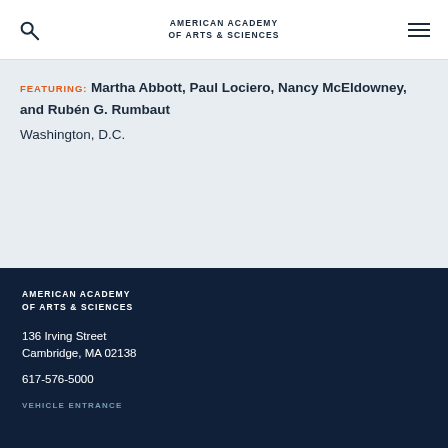AMERICAN ACADEMY OF ARTS & SCIENCES
FEATURING: Martha Abbott, Paul Lociero, Nancy McEldowney, and Rubén G. Rumbaut
Washington, D.C.
AMERICAN ACADEMY OF ARTS & SCIENCES
136 Irving Street
Cambridge, MA 02138
617-576-5000
VEHICLE ENTRANCE